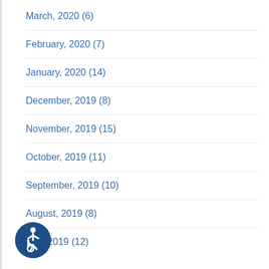March, 2020  (6)
February, 2020  (7)
January, 2020  (14)
December, 2019  (8)
November, 2019  (15)
October, 2019  (11)
September, 2019  (10)
August, 2019  (8)
July, 2019  (12)
[Figure (illustration): Accessibility icon — wheelchair user symbol in white on dark blue circle background]